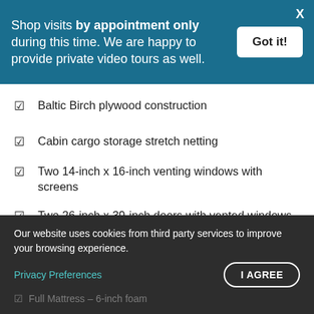Shop visits by appointment only during this time. We are happy to provide private video tours as well.
Baltic Birch plywood construction
Cabin cargo storage stretch netting
Two 14-inch x 16-inch venting windows with screens
Two 26-inch x 39-inch doors with vented windows
Large tinted or clear poly-carbonate skylight
Pull-down shade on skylight
Our website uses cookies from third party services to improve your browsing experience.
Privacy Preferences
Full Mattress – 6-inch foam